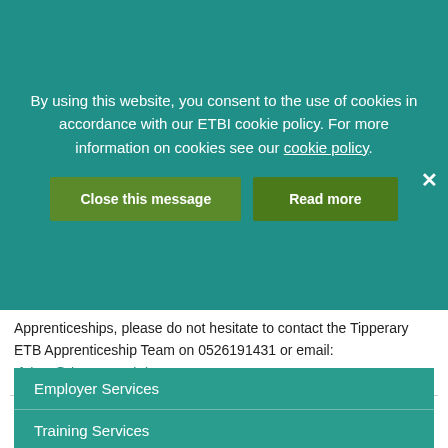By using this website, you consent to the use of cookies in accordance with our ETBI cookie policy. For more information on cookies see our cookie policy.
Apprenticeships, please do not hesitate to contact the Tipperary ETB Apprenticeship Team on 0526191431 or email:
rfahey@tipperaryetb.ie
Employer Services
Training Services
Apprenticeships
Community Training Centres (CTC)